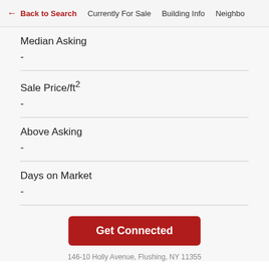← Back to Search   Currently For Sale   Building Info   Neighbo
Median Asking
-
Sale Price/ft²
-
Above Asking
-
Days on Market
-
Get Connected
146-10 Holly Avenue, Flushing, NY 11355